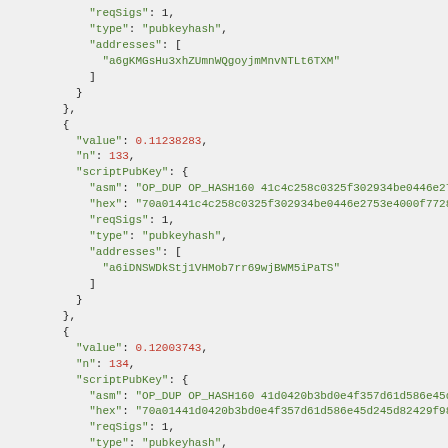JSON code snippet showing Bitcoin transaction output data with scriptPubKey fields including reqSigs, type, addresses, value, n fields for outputs 133, 134, and 135